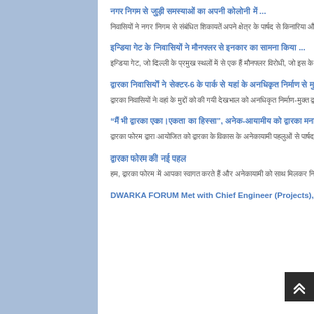[Hindi title link 1] ...
[Hindi body text 1] ...
[Hindi title link 2] ...
[Hindi body text 2] ...
[Hindi title link 3] ...
[Hindi body text 3] ...
[Hindi title link 4] ...
[Hindi body text 4] 22 ...
[Hindi title link 5] ...
[Hindi body text 5] ...
DWARKA FORUM Met with Chief Engineer (Projects),